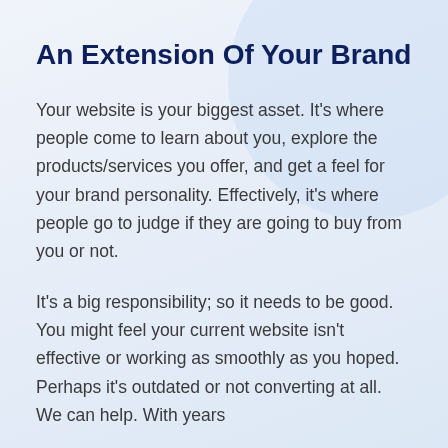An Extension Of Your Brand
Your website is your biggest asset. It's where people come to learn about you, explore the products/services you offer, and get a feel for your brand personality. Effectively, it's where people go to judge if they are going to buy from you or not.
It's a big responsibility; so it needs to be good. You might feel your current website isn't effective or working as smoothly as you hoped. Perhaps it's outdated or not converting at all. We can help. With years